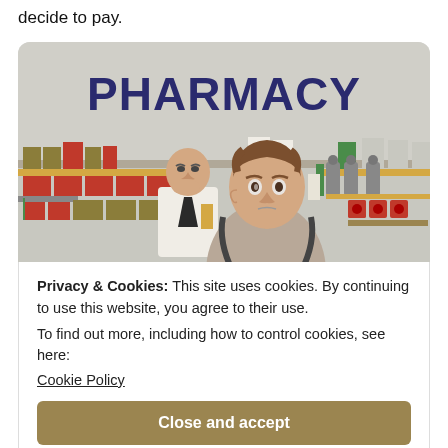decide to pay.
[Figure (illustration): Illustration of a pharmacy scene: a woman with a shoulder bag holds a small green container and looks anxiously over her shoulder. In the background, a bald pharmacist in white coat watches suspiciously. Pharmacy shelves are stocked with colorful medicine boxes and bottles. The word PHARMACY appears in large dark blue bold letters above the shelves.]
Privacy & Cookies: This site uses cookies. By continuing to use this website, you agree to their use.
To find out more, including how to control cookies, see here:
Cookie Policy
Close and accept
people with Kleptomania feel strong urges to steal,